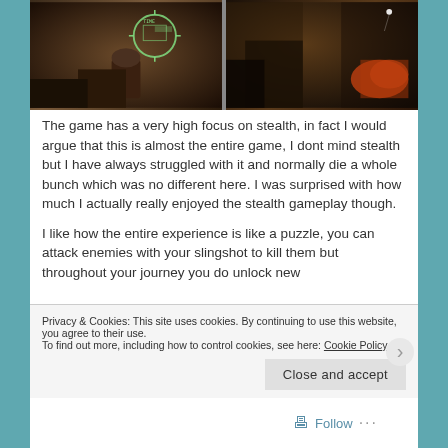[Figure (screenshot): Two side-by-side dark video game screenshots showing stealth gameplay scenes]
The game has a very high focus on stealth, in fact I would argue that this is almost the entire game, I dont mind stealth but I have always struggled with it and normally die a whole bunch which was no different here. I was surprised with how much I actually really enjoyed the stealth gameplay though.
I like how the entire experience is like a puzzle, you can attack enemies with your slingshot to kill them but throughout your journey you do unlock new
Privacy & Cookies: This site uses cookies. By continuing to use this website, you agree to their use.
To find out more, including how to control cookies, see here: Cookie Policy
Close and accept
Follow ...